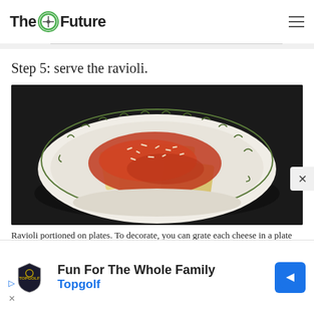The Future
Step 5: serve the ravioli.
[Figure (photo): A white bowl with decorative green leaf border pattern containing ravioli topped with tomato sauce and grated cheese, on a dark background.]
Ravioli portioned on plates. To decorate, you can grate each cheese in a plate
Fun For The Whole Family
Topgolf